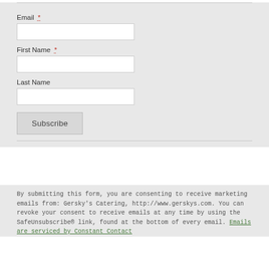Email *
First Name *
Last Name
Subscribe
By submitting this form, you are consenting to receive marketing emails from: Gersky's Catering, http://www.gerskys.com. You can revoke your consent to receive emails at any time by using the SafeUnsubscribe® link, found at the bottom of every email. Emails are serviced by Constant Contact